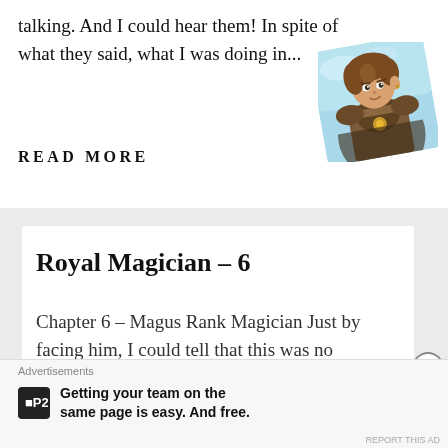talking. And I could hear them! In spite of what they said, what I was doing in...
[Figure (illustration): Anime-style character illustration of a young man in fantasy armor, tilted at an angle]
READ MORE
Royal Magician – 6
Chapter 6 – Magus Rank Magician Just by facing him, I could tell that this was no
Advertisements
[Figure (logo): P2 logo — dark square with letter P and number 2]
Getting your team on the same page is easy. And free.